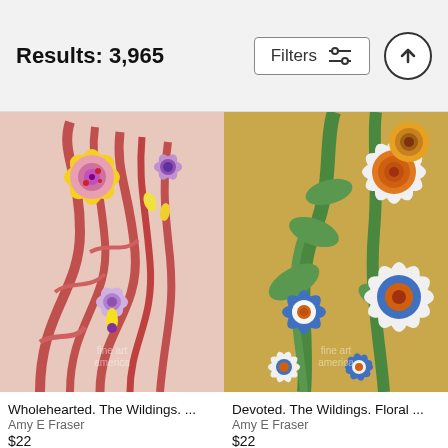Results: 3,965
[Figure (screenshot): Filters button with sliders icon and scroll-up arrow button]
[Figure (illustration): Wholehearted. The Wildings. - colorful floral folk art painting with swirling red stems and decorative flowers]
[Figure (illustration): Devoted. The Wildings. Floral - colorful painting of white daisies and blue flowers on golden background]
Wholehearted. The Wildings. ...
Amy E Fraser
$22
Devoted. The Wildings. Floral ...
Amy E Fraser
$22
[Figure (illustration): Partial view of floral art with pink flowers and green leaves on green background]
[Figure (illustration): Partial view of colorful swirling art with orange and green patterns on blue background]